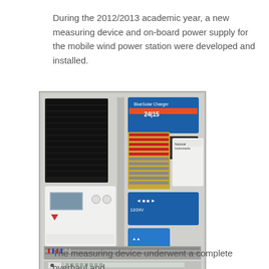During the 2012/2013 academic year, a new measuring device and on-board power supply for the mobile wind power station were developed and installed.
[Figure (photo): An open electrical control cabinet containing various power electronics components: a large black heat sink/inverter on the left, a blue battery charger (24V) at the top right, a white NI data acquisition device, blue power converters, wiring terminals at the bottom, and various other electronic modules mounted on a gray backplate.]
The measuring device underwent a complete overhaul and